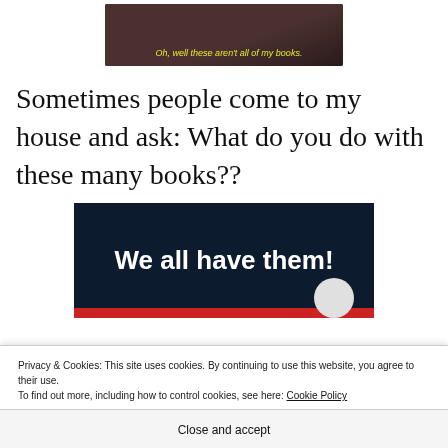[Figure (screenshot): Video screenshot showing two people, with yellow italic subtitle text: Oh, well these aren't all of my books.]
Sometimes people come to my house and ask: What do you do with these many books??
[Figure (screenshot): Dark navy banner image with bold white text: We all have them! with a red bar at the bottom and a grey circle partially visible in the lower right.]
Privacy & Cookies: This site uses cookies. By continuing to use this website, you agree to their use.
To find out more, including how to control cookies, see here: Cookie Policy
Close and accept